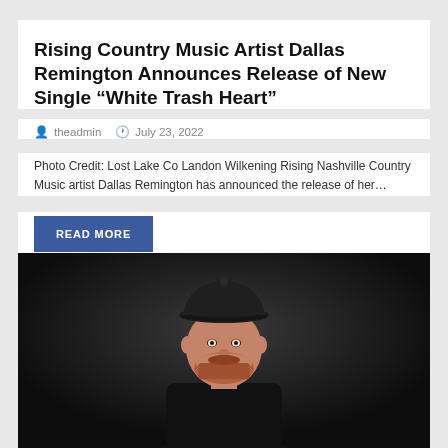Rising Country Music Artist Dallas Remington Announces Release of New Single “White Trash Heart”
theadmin   July 23, 2022
Photo Credit: Lost Lake Co Landon Wilkening Rising Nashville Country Music artist Dallas Remington has announced the release of her…
READ MORE
[Figure (photo): A man wearing a black baseball cap and black t-shirt, with a beard, photographed against a dark background in a moody portrait style.]